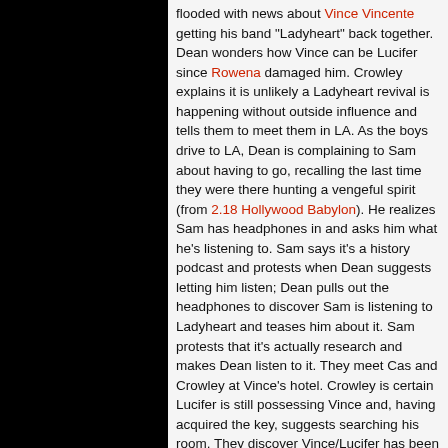flooded with news about Vince Vincente getting his band "Ladyheart" back together. Dean wonders how Vince can be Lucifer since Rowena damaged him. Crowley explains it is unlikely a Ladyheart revival is happening without outside influence and tells them to meet them in LA. As the boys drive to LA, Dean is complaining to Sam about having to go, recalling the last time they were there hunting a vengeful spirit (from 2.18 Hollywood Babylon). He realizes Sam has headphones in and asks him what he's listening to. Sam says it's a history podcast and protests when Dean suggests letting him listen; Dean pulls out the headphones to discover Sam is listening to Ladyheart and teases him about it. Sam protests that it's actually research and makes Dean listen to it. They meet Cas and Crowley at Vince's hotel. Crowley is certain Lucifer is still possessing Vince and, having acquired the key, suggests searching his room. They discover Vince/Lucifer has been reading rock star biographies as if he's researching how to become famous, and Cas finds a bloody tooth.